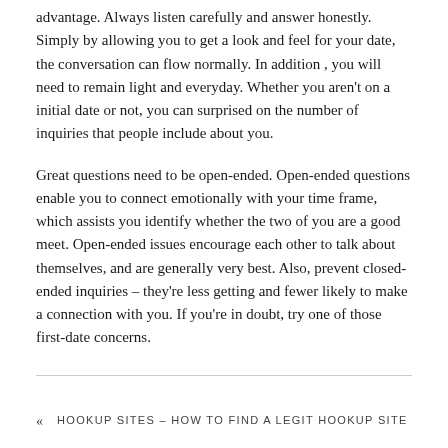advantage. Always listen carefully and answer honestly. Simply by allowing you to get a look and feel for your date, the conversation can flow normally. In addition , you will need to remain light and everyday. Whether you aren't on a initial date or not, you can surprised on the number of inquiries that people include about you.
Great questions need to be open-ended. Open-ended questions enable you to connect emotionally with your time frame, which assists you identify whether the two of you are a good meet. Open-ended issues encourage each other to talk about themselves, and are generally very best. Also, prevent closed-ended inquiries – they're less getting and fewer likely to make a connection with you. If you're in doubt, try one of those first-date concerns.
« HOOKUP SITES – HOW TO FIND A LEGIT HOOKUP SITE